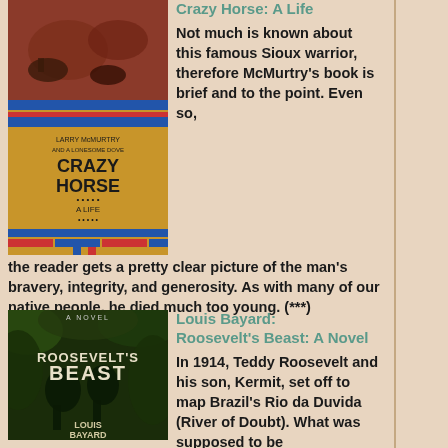[Figure (photo): Book cover of Larry McMurtry: Crazy Horse: A Life]
Larry McMurtry: Crazy Horse: A Life
Not much is known about this famous Sioux warrior, therefore McMurtry's book is brief and to the point. Even so, the reader gets a pretty clear picture of the man's bravery, integrity, and generosity. As with many of our native people, he died much too young. (***)
[Figure (photo): Book cover of Louis Bayard: Roosevelt's Beast: A Novel]
Louis Bayard: Roosevelt's Beast: A Novel
In 1914, Teddy Roosevelt and his son, Kermit, set off to map Brazil's Rio da Duvida (River of Doubt). What was supposed to be a lark for the “Colonel” and his son ended up almost killing both of them. Indeed, the former president never completely recovered. Bayard has taken